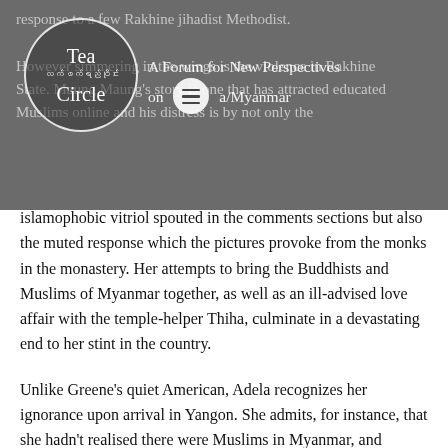[Figure (other): Tea Circle logo and website header overlay on a dark photographic background. The circular logo reads 'Tea Circle / လက်ဖက်ရည်ဝိုင်း / Circle' with a tagline 'A Forum for New Perspectives on Burma/Myanmar'. A hamburger menu icon is visible.]
islamophobic vitriol spouted in the comments sections but also the muted response which the pictures provoke from the monks in the monastery. Her attempts to bring the Buddhists and Muslims of Myanmar together, as well as an ill-advised love affair with the temple-helper Thiha, culminate in a devastating end to her stint in the country.
Unlike Greene's quiet American, Adela recognizes her ignorance upon arrival in Yangon. She admits, for instance, that she hadn't realised there were Muslims in Myanmar, and quickly sets out to expand her knowledge. Alongside Orwell's Burmese Days – found in the hand luggage of most travellers in Myanmar – Adela immerses herself in weightier,